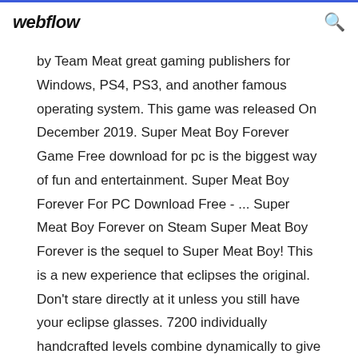webflow
by Team Meat great gaming publishers for Windows, PS4, PS3, and another famous operating system. This game was released On December 2019. Super Meat Boy Forever Game Free download for pc is the biggest way of fun and entertainment. Super Meat Boy Forever For PC Download Free - ... Super Meat Boy Forever on Steam Super Meat Boy Forever is the sequel to Super Meat Boy! This is a new experience that eclipses the original. Don't stare directly at it unless you still have your eclipse glasses. 7200 individually handcrafted levels combine dynamically to give you a new challenge every single time you play. Seven thousand two hundred levels. The website would state it but